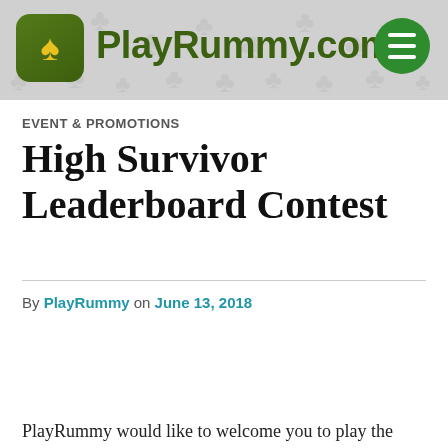PlayRummy.com
EVENT & PROMOTIONS
High Survivor Leaderboard Contest
By PlayRummy on June 13, 2018
PlayRummy would like to welcome you to play the High